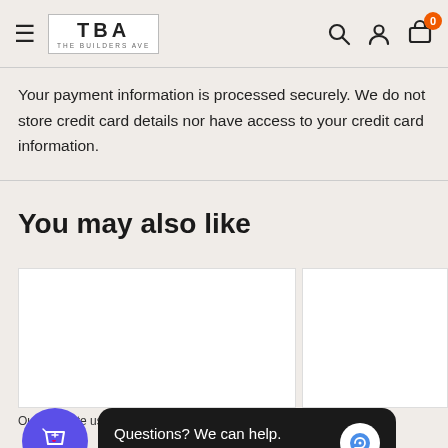TBA THE BUILDERS AVE — navigation header with search, account, and cart icons
Your payment information is processed securely. We do not store credit card details nor have access to your credit card information.
You may also like
[Figure (screenshot): Product card placeholder (white rectangle)]
[Figure (screenshot): Partial product card placeholder on the right]
Our site uses cookies to improve your experience
[Figure (screenshot): Purple wishlist/shopping bag button bubble]
[Figure (screenshot): Chat widget: Questions? We can help. Chat with us now.]